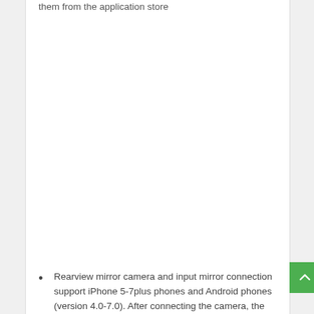them from the application store
Rearview mirror camera and input mirror connection support iPhone 5-7plus phones and Android phones (version 4.0-7.0). After connecting the camera, the